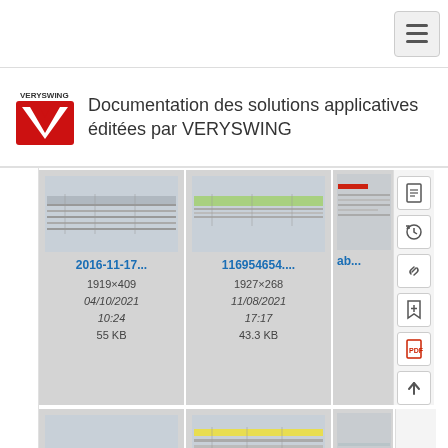Documentation des solutions applicatives éditées par VERYSWING
[Figure (screenshot): Thumbnail of 2016-11-17 file, spreadsheet-like interface]
2016-11-17...
1919×409
04/10/2021 10:24
55 KB
[Figure (screenshot): Thumbnail of 116954654 file, green highlighted row interface]
116954654....
1927×268
11/08/2021 17:17
43.3 KB
[Figure (screenshot): Thumbnail of ab... file (partially visible)]
ab...
[Figure (screenshot): Thumbnail of accidents_ file]
accidents_...
[Figure (screenshot): Thumbnail of action_ajo file, table with yellow highlight]
action_ajo...
[Figure (screenshot): Thumbnail of action file (partially visible)]
action...